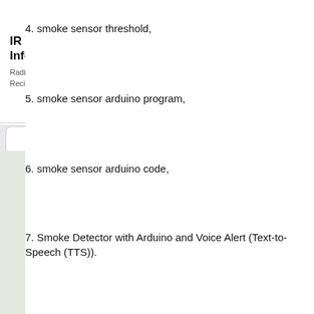[Figure (other): Advertisement banner for IR Telemetrics with title 'IR Telemetrics - Contact Us for Information', subtitle 'Radio & IR Telemetry from Harsh Environments Including Reciprocating & Rotating Machinery irtelemetrics.com', and an OPEN button.]
4. smoke sensor threshold,
5. smoke sensor arduino program,
6. smoke sensor arduino code,
7. Smoke Detector with Arduino and Voice Alert (Text-to-Speech (TTS)).